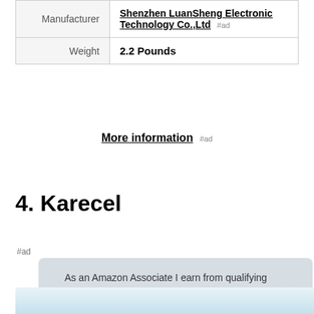|  |  |
| --- | --- |
| Manufacturer | Shenzhen LuanSheng Electronic Technology Co.,Ltd #ad |
| Weight | 2.2 Pounds |
More information #ad
4. Karecel
#ad
As an Amazon Associate I earn from qualifying purchases. This website uses the only necessary cookies to ensure you get the best experience on our website. More information